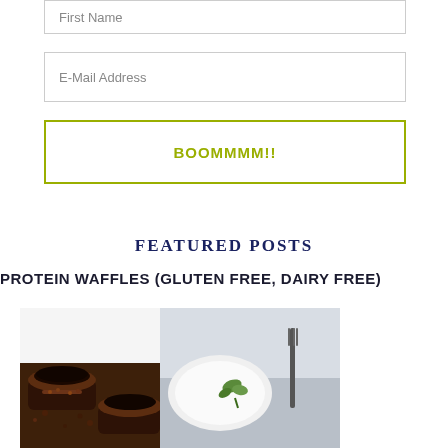First Name
E-Mail Address
BOOMMMM!!
FEATURED POSTS
PROTEIN WAFFLES (GLUTEN FREE, DAIRY FREE)
[Figure (photo): Two food images side by side: left shows chocolate dessert cups/truffles, right shows a plate with fork and greenery]